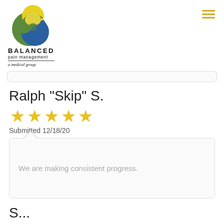[Figure (logo): Balanced Pain Management logo with circular yin-yang style emblem in green, blue, and yellow, with text BALANCED pain management a medical group]
Ralph "Skip" S.
[Figure (infographic): 5 yellow stars rating]
Submitted 12/18/20
We are making consistent progress.
S...